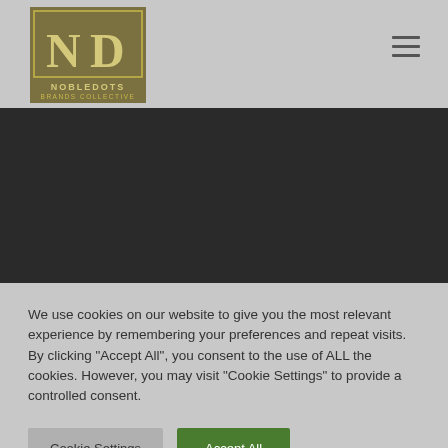[Figure (logo): NobleDots Brands Collective logo — square olive/gold border with ND monogram inside, company name below]
[Figure (other): Hamburger menu icon (three horizontal lines) in top right corner]
[Figure (other): Dark banner/hero image area — solid dark grey/charcoal background band]
We use cookies on our website to give you the most relevant experience by remembering your preferences and repeat visits. By clicking "Accept All", you consent to the use of ALL the cookies. However, you may visit "Cookie Settings" to provide a controlled consent.
Cookie Settings
Accept All